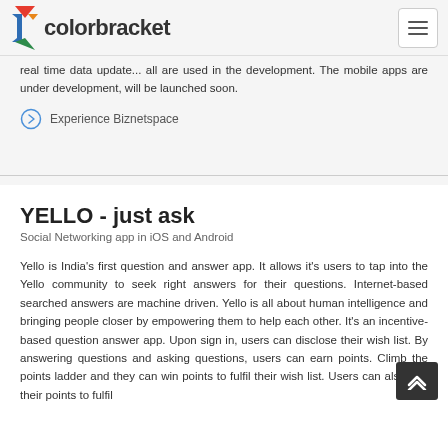colorbracket
real time data update... all are used in the development. The mobile apps are under development, will be launched soon.
Experience Biznetspace
YELLO - just ask
Social Networking app in iOS and Android
Yello is India's first question and answer app. It allows it's users to tap into the Yello community to seek right answers for their questions. Internet-based searched answers are machine driven. Yello is all about human intelligence and bringing people closer by empowering them to help each other. It's an incentive-based question answer app. Upon sign in, users can disclose their wish list. By answering questions and asking questions, users can earn points. Climb the points ladder and they can win points to fulfil their wish list. Users can also use their points to fulfil